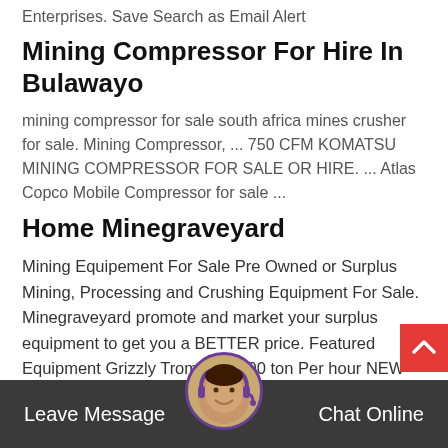Enterprises. Save Search as Email Alert
Mining Compressor For Hire In Bulawayo
mining compressor for sale south africa mines crusher for sale. Mining Compressor, ... 750 CFM KOMATSU MINING COMPRESSOR FOR SALE OR HIRE. ... Atlas Copco Mobile Compressor for sale ...
Home Minegraveyard
Mining Equipement For Sale Pre Owned or Surplus Mining, Processing and Crushing Equipment For Sale. Minegraveyard promote and market your surplus equipment to get you a BETTER price. Featured Equipment Grizzly Trommel 1000 ton Per hour NEW CATEGORY COMING SOON HUGE 1000 TON TROMM... WASH PLANT REDUCED ... TO SELL Our Equipment Electrical Exploring & ...
Leave Message   Chat Online